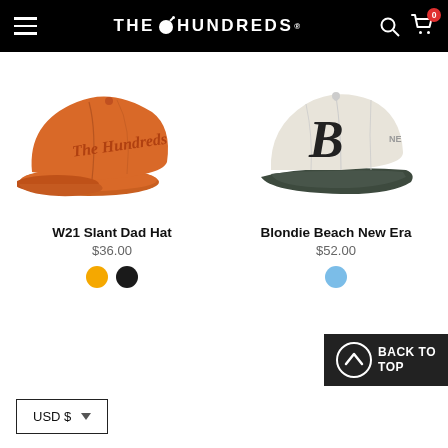THE HUNDREDS — Navigation header with hamburger menu, logo, search, and cart (0 items)
[Figure (photo): Orange dad hat with 'The Hundreds' script logo embroidered on front]
W21 Slant Dad Hat
$36.00
[Figure (photo): Off-white/cream New Era fitted cap with large 'B' letter on front and dark brim]
Blondie Beach New Era
$52.00
BACK TO TOP
USD $